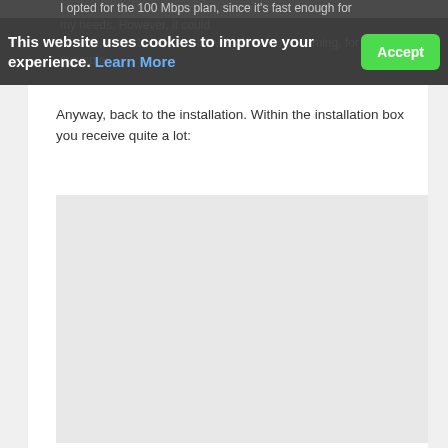I opted for the 100 Mbps plan, since it's fast enough for my needs. However, it could become limited in the future with 4K video streaming, for example.
This website uses cookies to improve your experience. Learn More
Anyway, back to the installation. Within the installation box you receive quite a lot:
[Figure (photo): Light grey image placeholder box representing a photo of installation box contents]